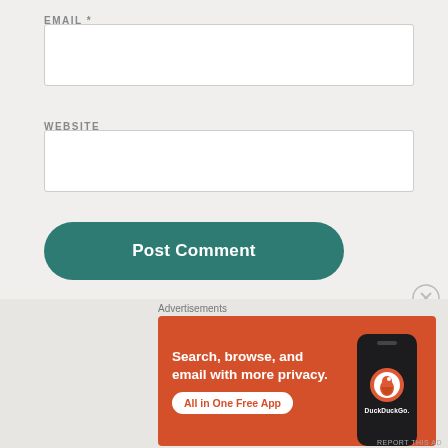EMAIL *
[Figure (screenshot): Empty email input text field]
WEBSITE
[Figure (screenshot): Empty website input text field]
[Figure (screenshot): Post Comment button, teal/dark green rounded rectangle]
NOTIFY ME OF NEW COMMENTS VIA EMAIL.
[Figure (screenshot): DuckDuckGo advertisement banner: orange background, text 'Search, browse, and email with more privacy. All in One Free App', phone graphic with DuckDuckGo logo]